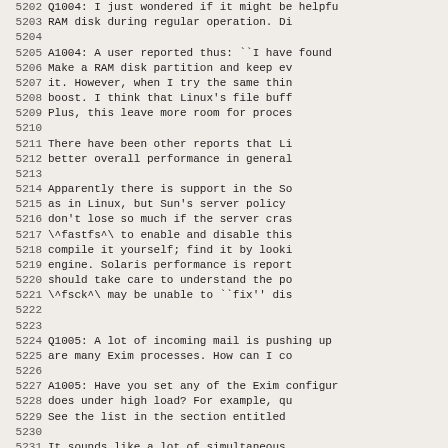5202 Q1004: I just wondered if it might be helpfu
5203        RAM disk during regular operation. Di
5204
5205 A1004: A user reported thus: ``I have found
5206        Make a RAM disk partition and keep ev
5207        it. However, when I try the same thin
5208        boost. I think that Linux's file buff
5209        Plus, this leave more room for proces
5210
5211        There have been other reports that Li
5212        better overall performance in general
5213
5214        Apparently there is support in the So
5215        as in Linux, but Sun's server policy
5216        don't lose so much if the server cras
5217        \^fastfs^\ to enable and disable this
5218        compile it yourself; find it by looki
5219        engine. Solaris performance is report
5220        should take care to understand the po
5221        \^fsck^\ may be unable to ``fix'' dis
5222
5223
5224 Q1005: A lot of incoming mail is pushing up
5225        are many Exim processes. How can I co
5226
5227 A1005: Have you set any of the Exim configur
5228        does under high load? For example, qu
5229        See the list in the section entitled
5230
5231        It sounds like a lot of simultaneous
5232        into uncontrolled overload. The multi
5233        just multiple incoming messages. You
5234        confirm this.